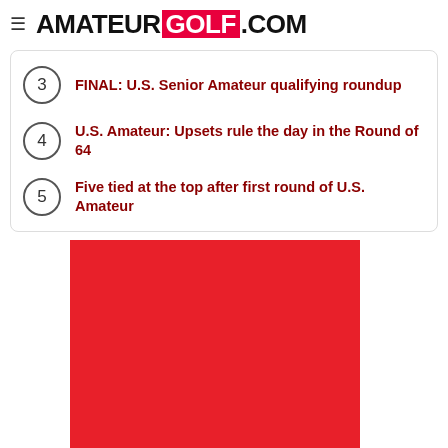AMATEUR GOLF .COM
3  FINAL: U.S. Senior Amateur qualifying roundup
4  U.S. Amateur: Upsets rule the day in the Round of 64
5  Five tied at the top after first round of U.S. Amateur
[Figure (photo): Large red rectangle image, likely a photo with a red dominant background]